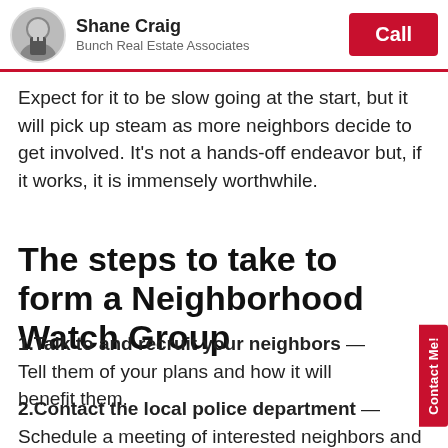Shane Craig — Bunch Real Estate Associates | Call
Expect for it to be slow going at the start, but it will pick up steam as more neighbors decide to get involved. It's not a hands-off endeavor but, if it works, it is immensely worthwhile.
The steps to take to form a Neighborhood Watch Group
1.Talk to and recruit your neighbors — Tell them of your plans and how it will benefit them.
2.Contact the local police department — Schedule a meeting of interested neighbors and issue an invitation to a police department representative to